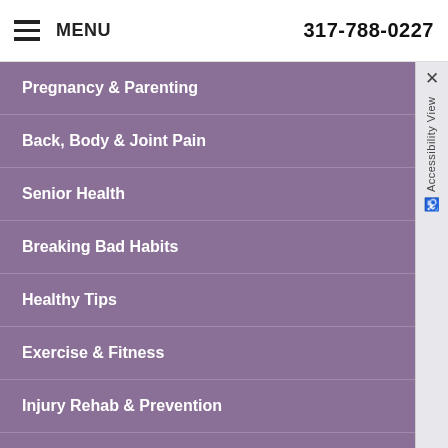MENU  317-788-0227
Pregnancy & Parenting
Back, Body & Joint Pain
Senior Health
Breaking Bad Habits
Healthy Tips
Exercise & Fitness
Injury Rehab & Prevention
Kid's Health
Illness Prevention
Chronic Conditions